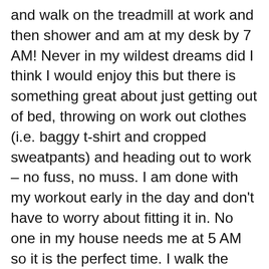and walk on the treadmill at work and then shower and am at my desk by 7 AM! Never in my wildest dreams did I think I would enjoy this but there is something great about just getting out of bed, throwing on work out clothes (i.e. baggy t-shirt and cropped sweatpants) and heading out to work – no fuss, no muss. I am done with my workout early in the day and don't have to worry about fitting it in. No one in my house needs me at 5 AM so it is the perfect time. I walk the neighborhood on the weekends and got in an extra day each week. LOVE finding this time for myself.  DECEMBER GOAL: I really want to continue my November goal so I can keep feeling this great. My other goal will be to get to bed each night at a decent time. There is lots going on in December and I don't want to be a crabby patty